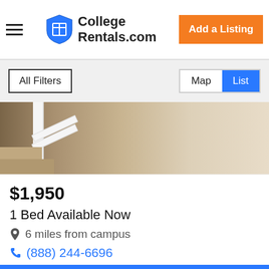CollegeRentals.com | Add a Listing
All Filters | Map | List
[Figure (photo): Interior photo showing a staircase with white railing and wood steps, beige/tan walls and flooring]
$1,950
1 Bed Available Now
6 miles from campus
(888) 244-6696
Send Message